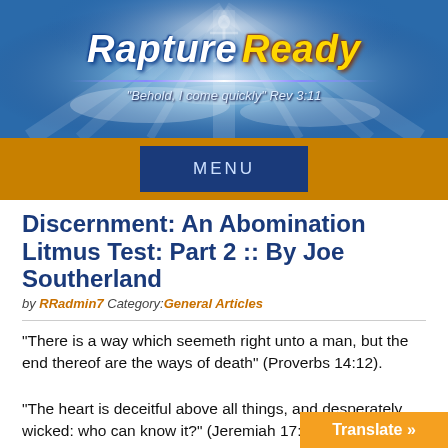[Figure (screenshot): Rapture Ready website header banner with blue sky, light rays, figure silhouette, and site logo reading 'Rapture Ready' with subtitle 'Behold, I come quickly Rev 3:11']
MENU
Discernment: An Abomination Litmus Test: Part 2 :: By Joe Southerland
by RRadmin7 Category:General Articles
“There is a way which seemeth right unto a man, but the end thereof are the ways of death” (Proverbs 14:12).
“The heart is deceitful above all things, and desperately wicked: who can know it?” (Jeremiah 17:9).